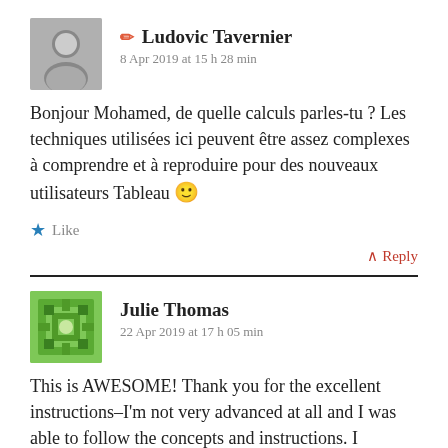✏ Ludovic Tavernier
8 Apr 2019 at 15 h 28 min
Bonjour Mohamed, de quelle calculs parles-tu ? Les techniques utilisées ici peuvent être assez complexes à comprendre et à reproduire pour des nouveaux utilisateurs Tableau 🙂
★ Like
↑ Reply
Julie Thomas
22 Apr 2019 at 17 h 05 min
This is AWESOME! Thank you for the excellent instructions–I'm not very advanced at all and I was able to follow the concepts and instructions. I